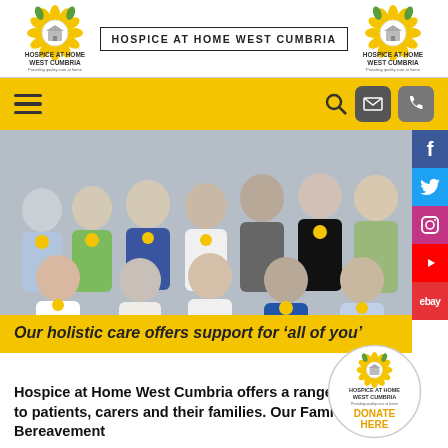HOSPICE AT HOME WEST CUMBRIA
[Figure (logo): Hospice at Home West Cumbria sunflower logo (left)]
[Figure (logo): Hospice at Home West Cumbria sunflower logo (right)]
[Figure (photo): Group photo of approximately 12 people wearing sunflower badges, posed together indoors]
Our holistic care offers support for ‘all of you’
Hospice at Home West Cumbria offers a range of services to patients, carers and their families. Our Family and Bereavement
[Figure (logo): Hospice at Home West Cumbria donate here circular badge]